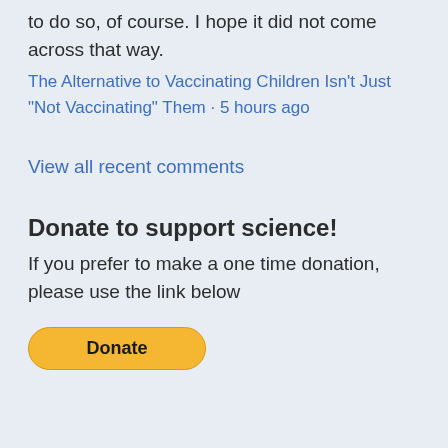to do so, of course. I hope it did not come across that way.
The Alternative to Vaccinating Children Isn't Just “Not Vaccinating” Them · 5 hours ago
View all recent comments
Donate to support science!
If you prefer to make a one time donation, please use the link below
[Figure (other): Yellow PayPal Donate button with rounded corners and bold black text reading 'Donate']